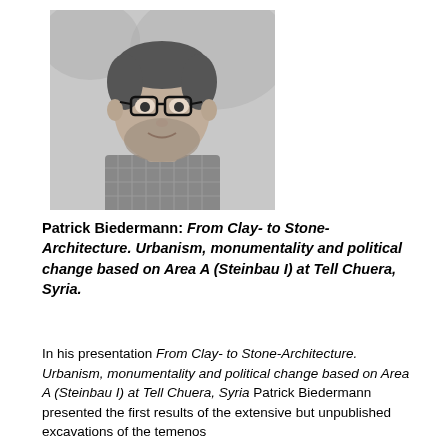[Figure (photo): Black and white portrait photo of Patrick Biedermann, a man with glasses and a beard, smiling slightly, wearing a checkered shirt.]
Patrick Biedermann: From Clay- to Stone-Architecture. Urbanism, monumentality and political change based on Area A (Steinbau I) at Tell Chuera, Syria.
In his presentation From Clay- to Stone-Architecture. Urbanism, monumentality and political change based on Area A (Steinbau I) at Tell Chuera, Syria Patrick Biedermann presented the first results of the extensive but unpublished excavations of the temenos